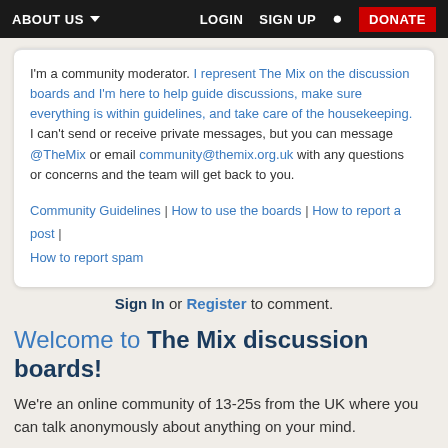ABOUT US  LOGIN  SIGN UP  DONATE
I'm a community moderator. I represent The Mix on the discussion boards and I'm here to help guide discussions, make sure everything is within guidelines, and take care of the housekeeping. I can't send or receive private messages, but you can message @TheMix or email community@themix.org.uk with any questions or concerns and the team will get back to you.
Community Guidelines | How to use the boards | How to report a post | How to report spam
Sign In or Register to comment.
Welcome to The Mix discussion boards!
We're an online community of 13-25s from the UK where you can talk anonymously about anything on your mind.
To get started, take a minute to register then introduce yourself, or just dive straight in!